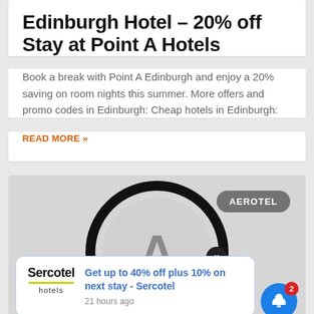Edinburgh Hotel – 20% off Stay at Point A Hotels
Book a break with Point A Edinburgh and enjoy a 20% saving on room nights this summer. More offers and promo codes in Edinburgh: Cheap hotels in Edinburgh:
READ MORE »
[Figure (screenshot): Screenshot of a webpage showing an Aerotel badge in the top right corner of a grey card, with a blurred magnifying glass icon overlay. An 'X' close button is visible. A notification popup from Sercotel Hotels reads 'Get up to 40% off plus 10% on next stay - Sercotel, 21 hours ago'. A blue bell notification button with a red badge showing '2' is in the bottom right.]